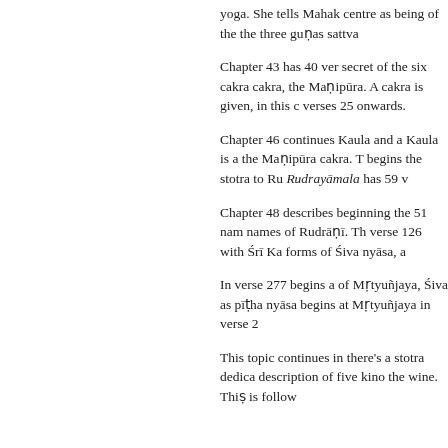yoga. She tells Mahak centre as being of the the three guṇas sattva
Chapter 43 has 40 verses secret of the six cakra cakra, the Maṇipūra. A cakra is given, in this c verses 25 onwards.
Chapter 46 continues Kaula and a Kaula is a the Maṇipūra cakra. T begins the stotra to Ru Rudrayāmala has 59 v
Chapter 48 describes beginning the 51 nam names of Rudrāṇī. Th verse 126 with Śrī Ka forms of Śiva nyāsa, a
In verse 277 begins a of Mṛtyuñjaya, Śiva as pīṭha nyāsa begins at Mṛtyuñjaya in verse 2
This topic continues in there's a stotra dedica description of five kino the wine. Thiṣ is follow